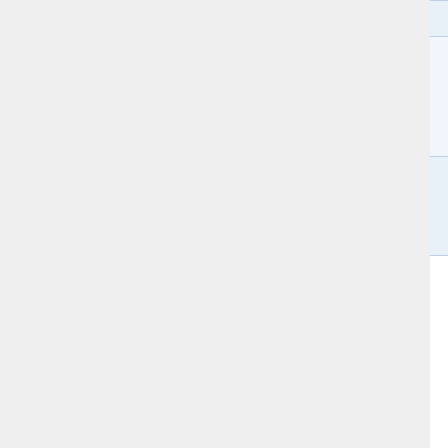|  |  |
| --- | --- |
| marker="selected" | Text $ma item ma sel |
| selection="%LANGUAGE%" | Cu lan be in l |
format variables:
| Variable | Meaning |
| --- | --- |
| $langname | language's name, as informed by the translators |
| $langtag | language's tag. Ex: |